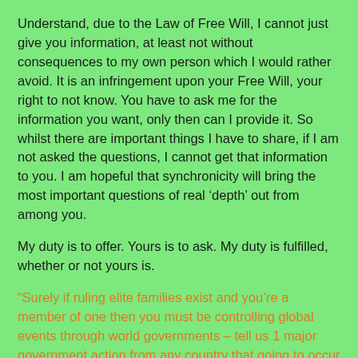Understand, due to the Law of Free Will, I cannot just give you information, at least not without consequences to my own person which I would rather avoid. It is an infringement upon your Free Will, your right to not know. You have to ask me for the information you want, only then can I provide it. So whilst there are important things I have to share, if I am not asked the questions, I cannot get that information to you. I am hopeful that synchronicity will bring the most important questions of real ‘depth’ out from among you.
My duty is to offer. Yours is to ask. My duty is fulfilled, whether or not yours is.
“Surely if ruling elite families exist and you’re a member of one then you must be controlling global events through world governments – tell us 1 major government action from any country that going to occur in the next 5 days. I won’t be